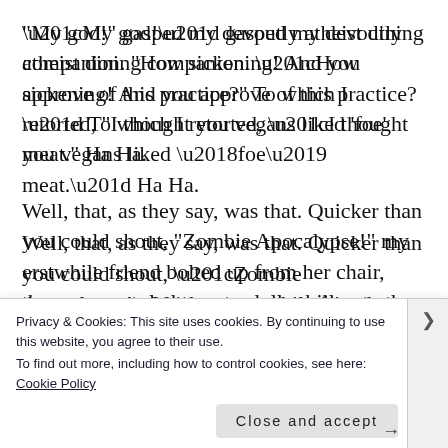“My god!” gasped my devoutly atheist dining companion. “How sickening! And you approve of this practice?” To which I retorted, “I thought you vegans liked ‘foe’ meat.” Ha Ha.
Well, that, as they say, was that. Quicker than you could shout, “Zombie Apocalypse!” my erstwhile friend bolted up from her chair, threw a crumpled twenty-dollar bill onto the table and left in a proverbial snit. A vegan snit, the kind that eschews rational discourse in favor of
Privacy & Cookies: This site uses cookies. By continuing to use this website, you agree to their use.
To find out more, including how to control cookies, see here: Cookie Policy
Close and accept